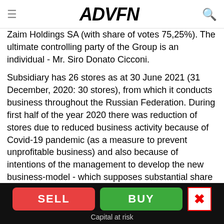ADVFN
Zaim Holdings SA (with share of votes 75,25%). The ultimate controlling party of the Group is an individual - Mr. Siro Donato Cicconi.
Subsidiary has 26 stores as at 30 June 2021 (31 December, 2020: 30 stores), from which it conducts business throughout the Russian Federation. During first half of the year 2020 there was reduction of stores due to reduced business activity because of Covid-19 pandemic (as a measure to prevent unprofitable business) and also because of intentions of the management to develop the new business-model - which supposes substantial share of online-loans. The additional costs due to the dismissal of employees (because of Covid-19 pandemic) and forced collecting
SELL   BUY   Capital at risk